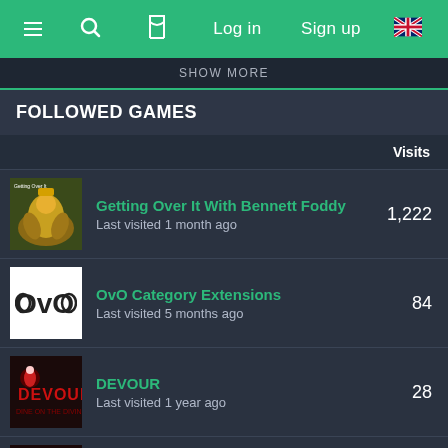≡  🔍  ⏳  Log in  Sign up  🇬🇧
SHOW MORE
FOLLOWED GAMES
|  | Game | Visits |
| --- | --- | --- |
| [thumb] | Getting Over It With Bennett Foddy
Last visited 1 month ago | 1,222 |
| [thumb] | OvO Category Extensions
Last visited 5 months ago | 84 |
| [thumb] | DEVOUR
Last visited 1 year ago | 28 |
| [thumb] | Super Skelemania
Last visited 4 years ago | 5 |
SHOW MORE